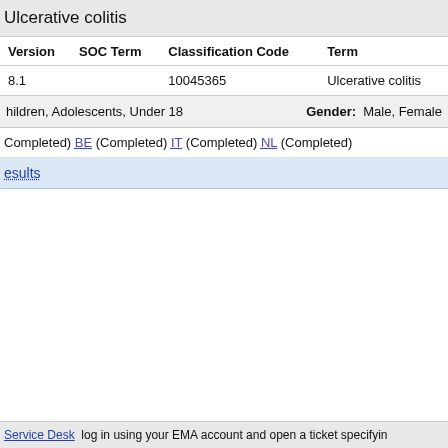Ulcerative colitis
| Version | SOC Term | Classification Code | Term |
| --- | --- | --- | --- |
| 8.1 |  | 10045365 | Ulcerative colitis |
hildren, Adolescents, Under 18   Gender: Male, Female
Completed) BE (Completed) IT (Completed) NL (Completed)
esults
Service Desk  log in using your EMA account and open a ticket specifyin